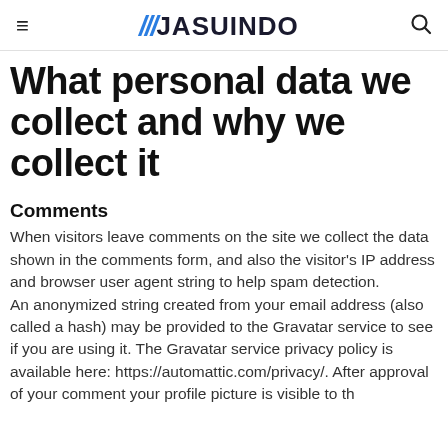≡  ///JASUINDO  🔍
What personal data we collect and why we collect it
Comments
When visitors leave comments on the site we collect the data shown in the comments form, and also the visitor's IP address and browser user agent string to help spam detection.
An anonymized string created from your email address (also called a hash) may be provided to the Gravatar service to see if you are using it. The Gravatar service privacy policy is available here: https://automattic.com/privacy/. After approval of your comment your profile picture is visible to th